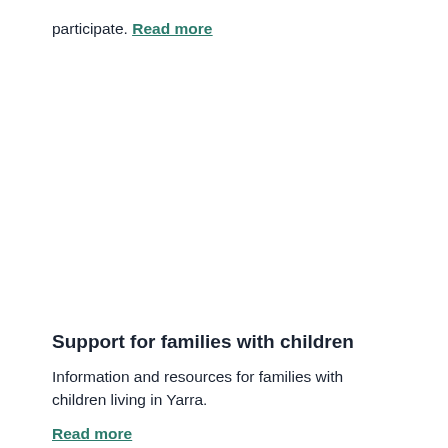participate.
Read more
Support for families with children
Information and resources for families with children living in Yarra.
Read more